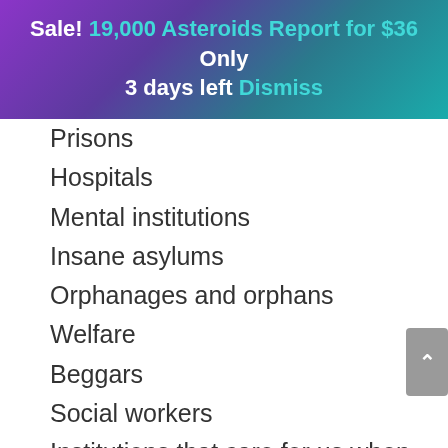Sale! 19,000 Asteroids Report for $36 Only 3 days left Dismiss
Prisons
Hospitals
Mental institutions
Insane asylums
Orphanages and orphans
Welfare
Beggars
Social workers
Institutions that care for us when we are in trouble with ourselves
Being a ward of the state